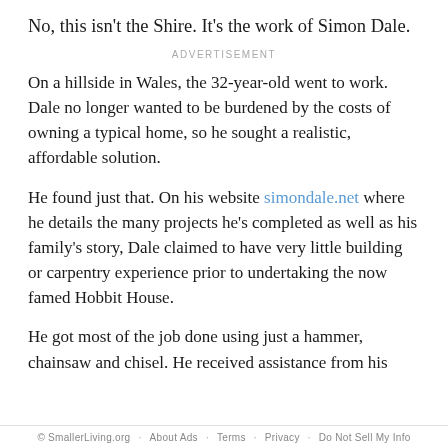No, this isn't the Shire. It's the work of Simon Dale.
ADVERTISEMENT
On a hillside in Wales, the 32-year-old went to work. Dale no longer wanted to be burdened by the costs of owning a typical home, so he sought a realistic, affordable solution.
He found just that. On his website simondale.net where he details the many projects he's completed as well as his family's story, Dale claimed to have very little building or carpentry experience prior to undertaking the now famed Hobbit House.
He got most of the job done using just a hammer, chainsaw and chisel. He received assistance from his
© SmallerLiving.org   About Ads   Terms   Privacy   Do Not Sell My Info